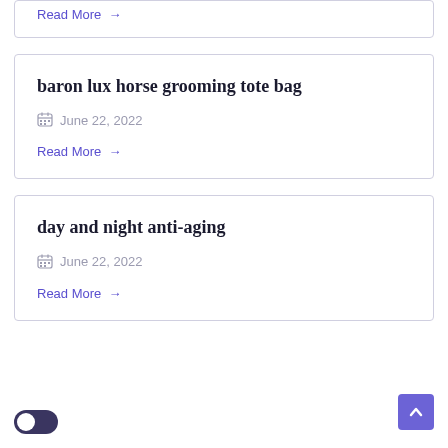Read More →
baron lux horse grooming tote bag
June 22, 2022
Read More →
day and night anti-aging
June 22, 2022
Read More →